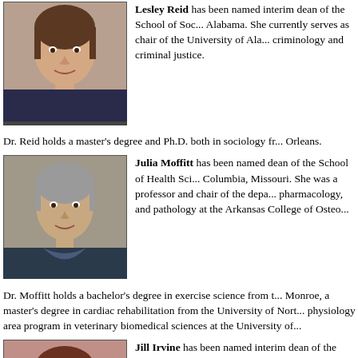[Figure (photo): Headshot photo of Lesley Reid, a woman with brown hair]
Lesley Reid has been named interim dean of the School of Social Work at the University of Alabama. She currently serves as chair of the University of Alabama's department of criminology and criminal justice.
Dr. Reid holds a master's degree and Ph.D. both in sociology from Tulane University in New Orleans.
[Figure (photo): Headshot photo of Julia Moffitt, a woman with short gray hair]
Julia Moffitt has been named dean of the School of Health Sciences at Stephens College in Columbia, Missouri. She was a professor and chair of the department of anatomy, physiology, pharmacology, and pathology at the Arkansas College of Osteopathic Medicine.
Dr. Moffitt holds a bachelor's degree in exercise science from the University of Louisiana at Monroe, a master's degree in cardiac rehabilitation from the University of North Texas, and a physiology area program in veterinary biomedical sciences at the University of Missouri.
[Figure (photo): Headshot photo of Jill Irvine, a woman with glasses and short hair]
Jill Irvine has been named interim dean of the College of International Studies at the University of Oklahoma. She currently serves as vice provost for faculty development and professor of international and area studies at the university.
Dr. Irvine holds a bachelor's degree in history from the University of Pennsylvania and a Ph.D. in government from Harvard University.
[Figure (photo): Headshot photo of Sonya Cooper (partially visible)]
Sonya Cooper has been named interim dean of the College of